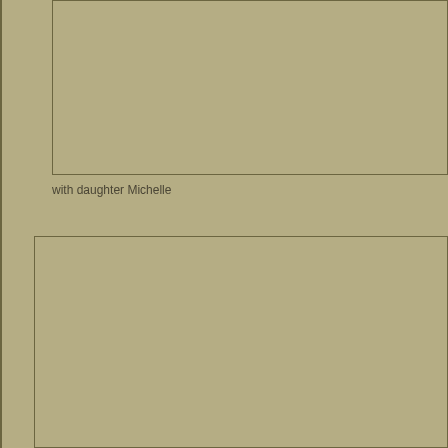[Figure (photo): Top photo placeholder box with tan/khaki background and dark border outline]
with daughter Michelle
[Figure (photo): Bottom photo placeholder box with tan/khaki background and dark border outline]